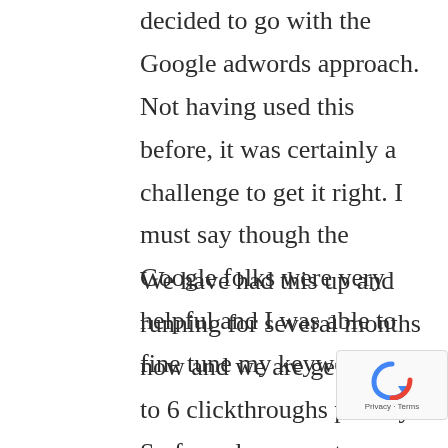decided to go with the Google adwords approach. Not having used this before, it was certainly a challenge to get it right. I must say though the Google folks were very helpful and I was able to fine tune my keywords.
We have had this up and running for several months now and we are getting 4 to 6 clickthroughs per day. So far only one or two have converted as we are careful to ask where the customer heard about Ottawa Foot Balance. We have also restricted the expenditures to $3.00 per day in order to control our expenditures and run about $60